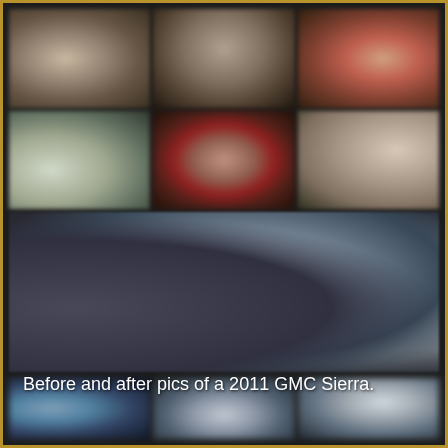[Figure (photo): Collage of before and after photos of a 2011 GMC Sierra truck, showing multiple blurred images arranged in a grid. Top two rows show close-up details (interior/exterior damage or dirt), middle large area shows the vehicle from various angles, bottom row shows the cleaned/after state of the white truck.]
Before and after pics of a 2011 GMC Sierra.